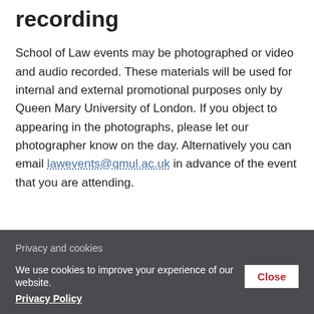recording
School of Law events may be photographed or video and audio recorded. These materials will be used for internal and external promotional purposes only by Queen Mary University of London. If you object to appearing in the photographs, please let our photographer know on the day. Alternatively you can email lawevents@qmul.ac.uk in advance of the event that you are attending.
Privacy and cookies
We use cookies to improve your experience of our website. Close
Privacy Policy